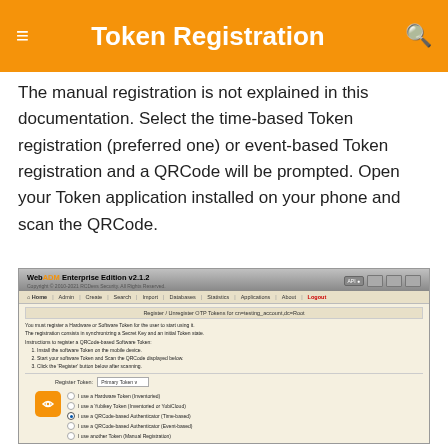Token Registration
The manual registration is not explained in this documentation. Select the time-based Token registration (preferred one) or event-based Token registration and a QRCode will be prompted. Open your Token application installed on your phone and scan the QRCode.
[Figure (screenshot): WebADM Enterprise Edition v2.1.2 interface showing the Register/Unregister OTP Tokens page with options to select token type including Hardware Token, Yubikey Token, QRCode-based Authenticator (Time-based, selected), QRCode-based Authenticator (Event-based), and Manual Registration.]